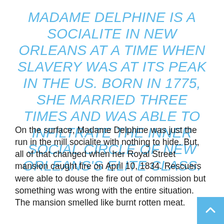MADAME DELPHINE IS A SOCIALITE IN NEW ORLEANS AT A TIME WHEN SLAVERY WAS AT ITS PEAK IN THE US. BORN IN 1775, SHE MARRIED THREE TIMES AND WAS ABLE TO INFILTRATE THE INNER SOCIAL CIRCLE OF NEW ORLEANS ELITE CLASS.
On the surface, Madame Delphine was just the run in the mill socialite with nothing to hide. But, all of that changed when her Royal Street mansion caught fire on April 10, 1834. Rescuers were able to douse the fire out of commission but something was wrong with the entire situation. The mansion smelled like burnt rotten meat.